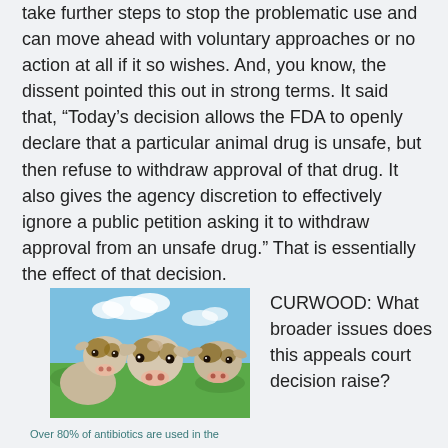take further steps to stop the problematic use and can move ahead with voluntary approaches or no action at all if it so wishes. And, you know, the dissent pointed this out in strong terms. It said that, “Today’s decision allows the FDA to openly declare that a particular animal drug is unsafe, but then refuse to withdraw approval of that drug. It also gives the agency discretion to effectively ignore a public petition asking it to withdraw approval from an unsafe drug.” That is essentially the effect of that decision.
[Figure (photo): Close-up photo of multiple cows (Hereford cattle) looking at the camera with a blue sky background.]
Over 80% of antibiotics are used in the
CURWOOD: What broader issues does this appeals court decision raise?